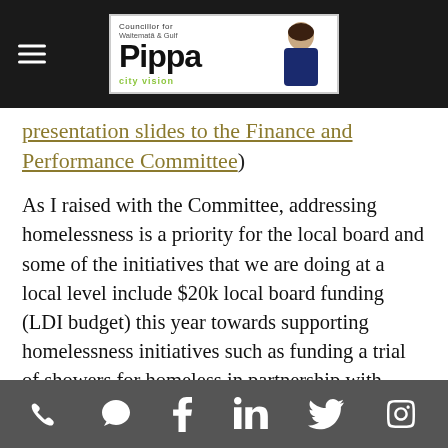[Figure (logo): Pippa Councillor for Waitematā & Gulf banner with City Vision logo and photo of Pippa]
presentation slides to the Finance and Performance Committee)
As I raised with the Committee, addressing homelessness is a priority for the local board and some of the initiatives that we are doing at a local level include $20k local board funding (LDI budget) this year towards supporting homelessness initiatives such as funding a trial of showers for homeless in partnership with Ellen Melville Centre and supporting an outreach programme by the James Liston
Phone | Message | Facebook | LinkedIn | Twitter | Instagram